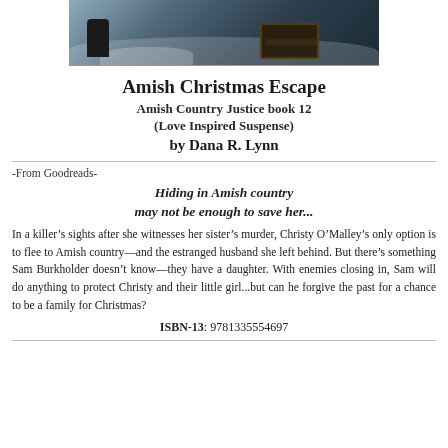[Figure (illustration): Partial book cover image showing a snowy scene with dark figures and a chest/trunk]
Amish Christmas Escape
Amish Country Justice book 12
(Love Inspired Suspense)
by Dana R. Lynn
-From Goodreads-
Hiding in Amish country
may not be enough to save her...
In a killer's sights after she witnesses her sister's murder, Christy O'Malley's only option is to flee to Amish country—and the estranged husband she left behind. But there's something Sam Burkholder doesn't know—they have a daughter. With enemies closing in, Sam will do anything to protect Christy and their little girl...but can he forgive the past for a chance to be a family for Christmas?
ISBN-13: 9781335554697